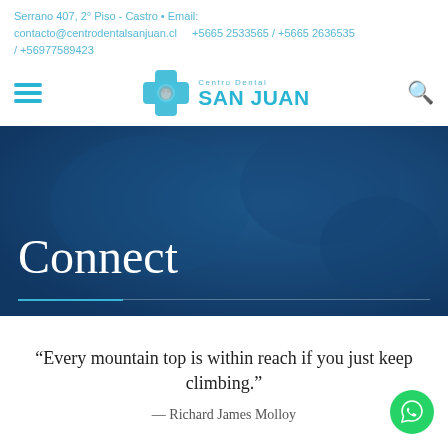Serrano 407, 2° Piso - Castro • Email: contacto@centrodentalsanjuan.cl   +5665 2533565 / +5665 2636535 / +56977589423
[Figure (logo): Centro Dental San Juan logo with teal cross and tooth icon, hamburger menu icon on left, search icon on right]
[Figure (photo): Hero banner showing dental/medical setting with blue overlay and large white 'Connect' heading, with a short blue horizontal line below]
“Every mountain top is within reach if you just keep climbing.”
— Richard James Molloy